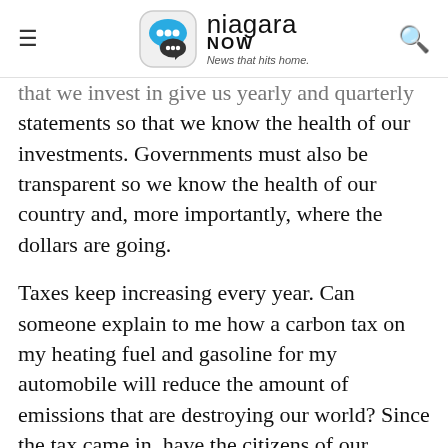niagara NOW — News that hits home.
that we invest in give us yearly and quarterly statements so that we know the health of our investments. Governments must also be transparent so we know the health of our country and, more importantly, where the dollars are going.
Taxes keep increasing every year. Can someone explain to me how a carbon tax on my heating fuel and gasoline for my automobile will reduce the amount of emissions that are destroying our world? Since the tax came in, have the citizens of our country changed their driving habits or reduced the use of heating fuel?